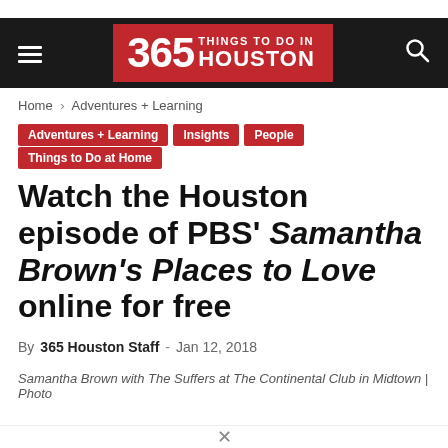365 THINGS TO DO IN HOUSTON
Home › Adventures + Learning
Adventures + Learning
Insights
People
Things to Do at Home
Watch the Houston episode of PBS' Samantha Brown's Places to Love online for free
By 365 Houston Staff - Jan 12, 2018
Samantha Brown with The Suffers at The Continental Club in Midtown | Photo